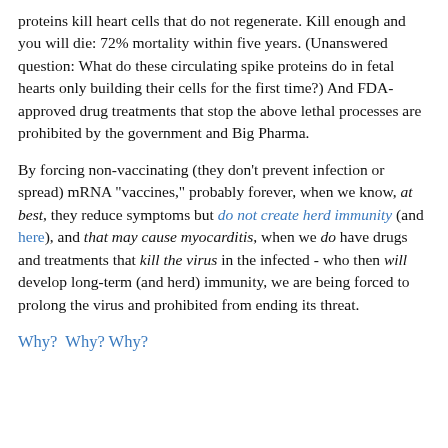proteins kill heart cells that do not regenerate. Kill enough and you will die: 72% mortality within five years. (Unanswered question: What do these circulating spike proteins do in fetal hearts only building their cells for the first time?) And FDA-approved drug treatments that stop the above lethal processes are prohibited by the government and Big Pharma.
By forcing non-vaccinating (they don't prevent infection or spread) mRNA "vaccines," probably forever, when we know, at best, they reduce symptoms but do not create herd immunity (and here), and that may cause myocarditis, when we do have drugs and treatments that kill the virus in the infected - who then will develop long-term (and herd) immunity, we are being forced to prolong the virus and prohibited from ending its threat.
Why?  Why? Why?